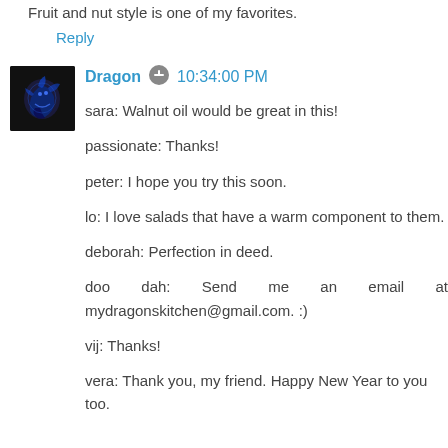Fruit and nut style is one of my favorites.
Reply
Dragon  10:34:00 PM
sara: Walnut oil would be great in this!

passionate: Thanks!

peter: I hope you try this soon.

lo: I love salads that have a warm component to them.

deborah: Perfection in deed.

doo dah: Send me an email at mydragonskitchen@gmail.com. :)

vij: Thanks!

vera: Thank you, my friend. Happy New Year to you too.